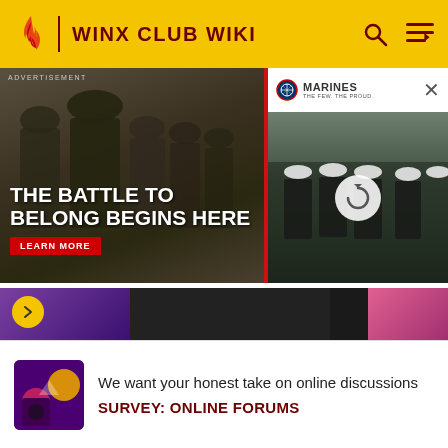WINX CLUB WIKI
[Figure (photo): Advertisement banner showing US Marines soldiers in camouflage with text 'THE BATTLE TO BELONG BEGINS HERE' and a 'LEARN MORE' button on the left, and a Marines logo with video player on the right]
hers and that they will fight for him. Darma and Sally support her decision and agree that Stella is just jealou They arrive at the store and notice the line but do not notice Brandon and Stella on the other side. Darma complains about the line, a possible two hour wait but Mitzi i
We want your honest take on online discussions
SURVEY: ONLINE FORUMS